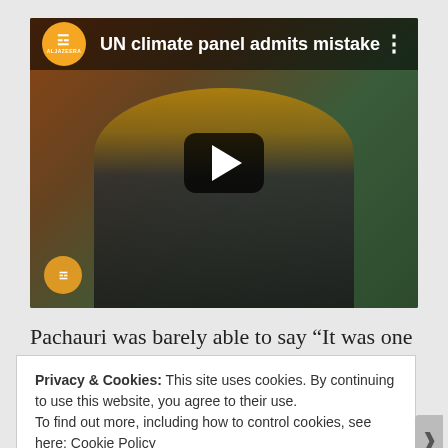[Figure (screenshot): Al Jazeera YouTube video thumbnail showing a man in a suit being interviewed, with title 'UN climate panel admits mistake'. Play button overlay visible. Al Jazeera logo in orange circle top left.]
Pachauri was barely able to say “It was one mistake” before the Netherlands slop and the African lies came
Privacy & Cookies: This site uses cookies. By continuing to use this website, you agree to their use.
To find out more, including how to control cookies, see here: Cookie Policy
Close and accept